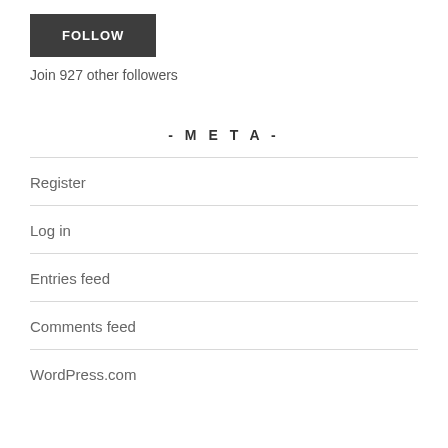FOLLOW
Join 927 other followers
- META -
Register
Log in
Entries feed
Comments feed
WordPress.com